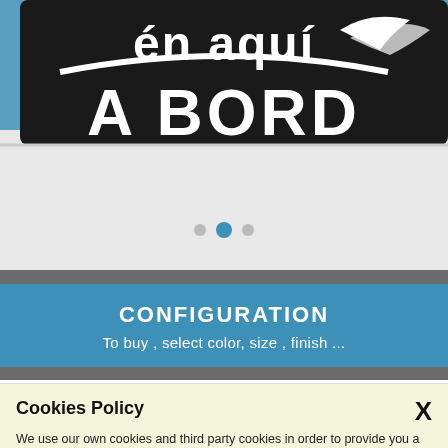[Figure (photo): Car window with white vinyl sticker text 'en aquí A BORD' with decorative wing/bird graphic on black background, car is white]
CONFIGURATION
To buy , select color, size , finish ...
Cookies Policy
We use our own cookies and third party cookies in order to provide you a better user experience and service. If you continue to browse and use this website you are agreeing to the use of these cookies. More information about our Cookies Policy
[Figure (photo): Two thumbnail product images at the bottom: left shows a dark car window with a white baby on board sticker, right shows a sky background with clouds and cartoon characters]